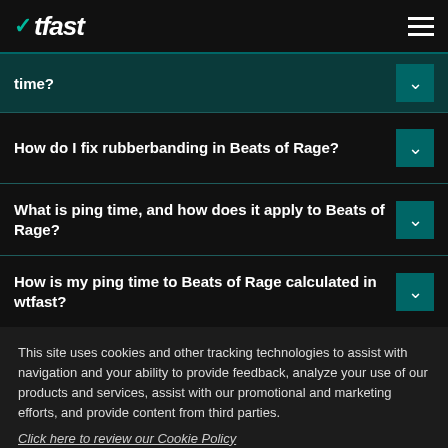WTFast
time?
How do I fix rubberbanding in Beats of Rage?
What is ping time, and how does it apply to Beats of Rage?
How is my ping time to Beats of Rage calculated in wtfast?
This site uses cookies and other tracking technologies to assist with navigation and your ability to provide feedback, analyze your use of our products and services, assist with our promotional and marketing efforts, and provide content from third parties.
Click here to review our Cookie Policy
ACCEPT ALL
Accept mandatory and performance